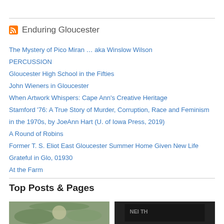Enduring Gloucester
The Mystery of Pico Miran … aka Winslow Wilson
PERCUSSION
Gloucester High School in the Fifties
John Wieners in Gloucester
When Artwork Whispers: Cape Ann's Creative Heritage
Stamford '76: A True Story of Murder, Corruption, Race and Feminism in the 1970s, by JoeAnn Hart (U. of Iowa Press, 2019)
A Round of Robins
Former T. S. Eliot East Gloucester Summer Home Given New Life
Grateful in Glo, 01930
At the Farm
Top Posts & Pages
[Figure (photo): Thumbnail photo on the left, outdoor scene with greenery]
[Figure (photo): Thumbnail photo on the right, dark scene with text/signage]